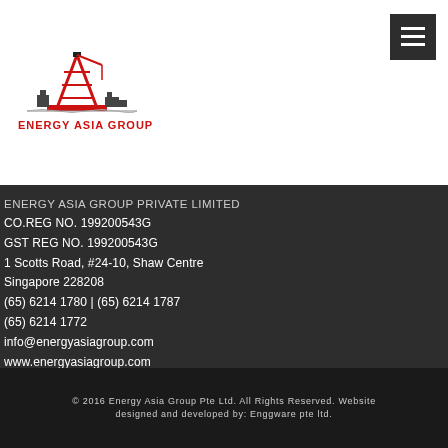[Figure (logo): Energy Asia Group logo with oil derrick crane graphic and text 'ENERGY ASIA GROUP' in red]
ENERGY ASIA GROUP PRIVATE LIMITED
CO.REG NO. 199200543G
GST REG NO. 199200543G
1 Scotts Road, #24-10, Shaw Centre
Singapore 228208
(65) 6214 1780 | (65) 6214 1787
(65) 6214 1772
info@energyasiagroup.com
www.energyasiagroup.com
© 2016 Energy Asia Group Pte Ltd. All Rights Reserved. Website designed and developed by: Enggware pte ltd.